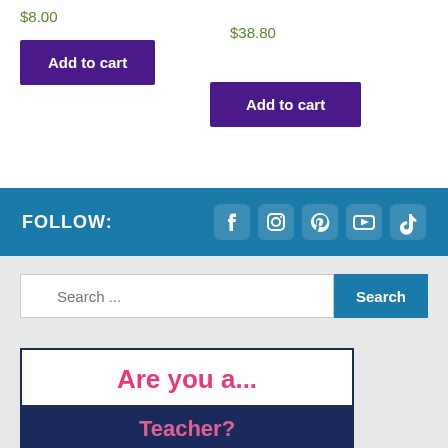$8.00
$38.80
Add to cart
Add to cart
FOLLOW:
[Figure (infographic): Social media icons: Facebook, Instagram, Pinterest, YouTube, TikTok]
[Figure (infographic): Search bar with magnifying glass icon and Search button]
[Figure (infographic): Banner reading 'Are you a...' in pink on white, then 'Teacher? Homeschooling Parent?' in pink on dark navy background]